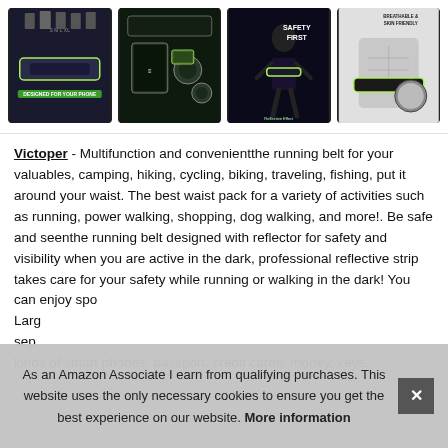[Figure (photo): Four product images of a running belt/waist pack showing different features: phone compatibility, storage, safety reflective strip, and breathable/skin-friendly material.]
Victoper - Multifunction and convenientthe running belt for your valuables, camping, hiking, cycling, biking, traveling, fishing, put it around your waist. The best waist pack for a variety of activities such as running, power walking, shopping, dog walking, and more!. Be safe and seenthe running belt designed with reflector for safety and visibility when you are active in the dark, professional reflective strip takes care for your safety while running or walking in the dark! You can enjoy spo
Larg sep kinds of smart phones, passport, credit cards, money, keys,
As an Amazon Associate I earn from qualifying purchases. This website uses the only necessary cookies to ensure you get the best experience on our website. More information